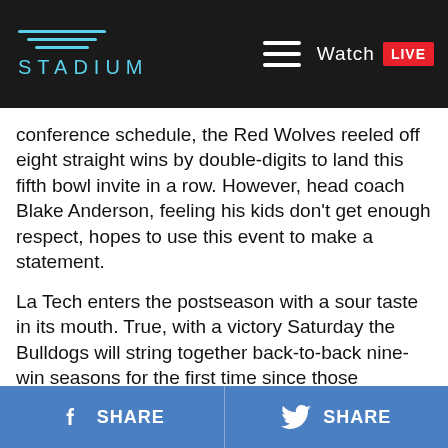STADIUM — Watch LIVE
conference schedule, the Red Wolves reeled off eight straight wins by double-digits to land this fifth bowl invite in a row. However, head coach Blake Anderson, feeling his kids don't get enough respect, hopes to use this event to make a statement.
La Tech enters the postseason with a sour taste in its mouth. True, with a victory Saturday the Bulldogs will string together back-to-back nine-win seasons for the first time since those Southland days four decades ago. And that's not to be discounted. But anything less than a second straight Conference USA West Division crown wasn't going to cut it for this veteran squad. However, hopes of a rematch with Western Kentucky came crashing down in a 58-24 implosion at the hands of Southern Miss in the regular season finale.
SHARE  SHARE